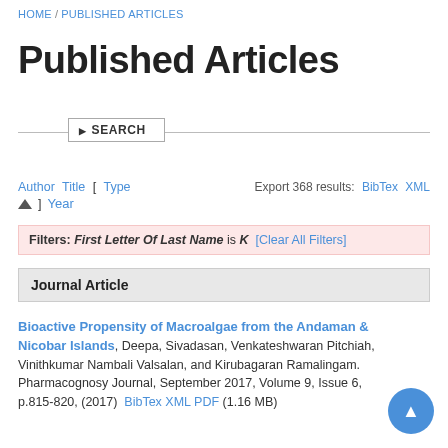HOME / PUBLISHED ARTICLES
Published Articles
▶ SEARCH
Author Title [ Type ▲ ] Year   Export 368 results: BibTex XML
Filters: First Letter Of Last Name is K  [Clear All Filters]
Journal Article
Bioactive Propensity of Macroalgae from the Andaman & Nicobar Islands, Deepa, Sivadasan, Venkateshwaran Pitchiah, Vinithkumar Nambali Valsalan, and Kirubagaran Ramalingam. Pharmacognosy Journal, September 2017, Volume 9, Issue 6, p.815-820, (2017)  BibTex  XML  PDF  (1.16 MB)